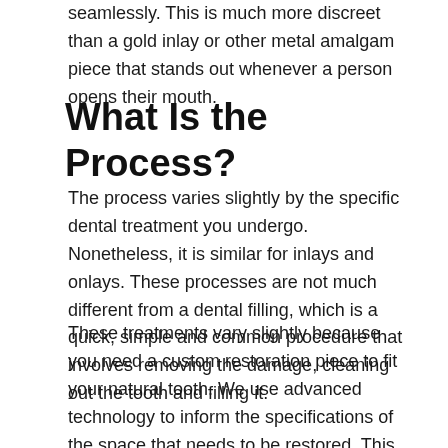seamlessly. This is much more discreet than a gold inlay or other metal amalgam piece that stands out whenever a person opens their mouth.
What Is the Process?
The process varies slightly by the specific dental treatment you undergo. Nonetheless, it is similar for inlays and onlays. These processes are not much different from a dental filling, which is a quick, simple and common procedure that involves removing the damage, cleaning out the tooth and filling it.
These treatments vary slightly because you need a custom restoration piece to fit your natural tooth. We use advanced technology to inform the specifications of the space that needs to be restored. This information is used to create an accurate custom-fitted inlay or onlay that Dr. Whittaker, Dr. Clawson, or Dr. Savage will attach above. Then above the...